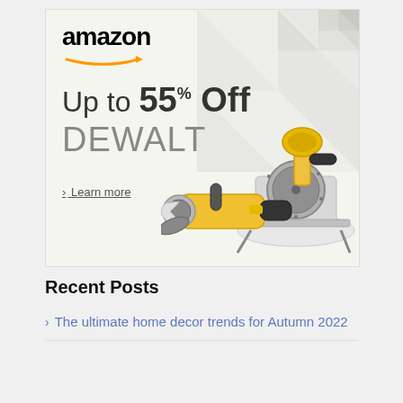[Figure (advertisement): Amazon advertisement banner showing DEWALT power tools with text 'Up to 55% Off DEWALT' and a 'Learn more' link. Background has geometric triangle pattern in top right. Two yellow and black DEWALT power tools (miter saw and angle grinder) are shown.]
Recent Posts
The ultimate home decor trends for Autumn 2022